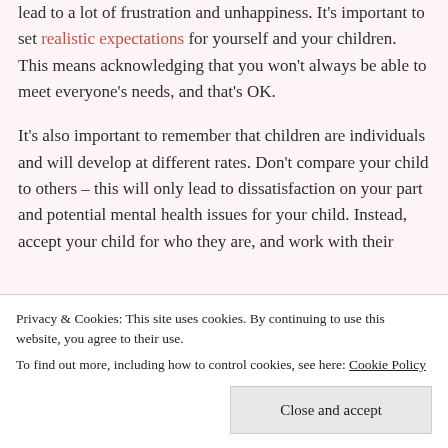lead to a lot of frustration and unhappiness. It's important to set realistic expectations for yourself and your children. This means acknowledging that you won't always be able to meet everyone's needs, and that's OK.
It's also important to remember that children are individuals and will develop at different rates. Don't compare your child to others – this will only lead to dissatisfaction on your part and potential mental health issues for your child. Instead, accept your child for who they are, and work with their
Privacy & Cookies: This site uses cookies. By continuing to use this website, you agree to their use.
To find out more, including how to control cookies, see here: Cookie Policy